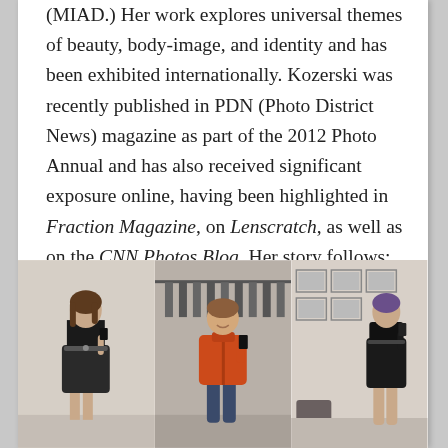(MIAD.) Her work explores universal themes of beauty, body-image, and identity and has been exhibited internationally. Kozerski was recently published in PDN (Photo District News) magazine as part of the 2012 Photo Annual and has also received significant exposure online, having been highlighted in Fraction Magazine, on Lenscratch, as well as on the CNN Photos Blog. Her story follows:
[Figure (photo): Three side-by-side photographs of women taking mirror selfies in what appear to be fitting rooms or retail stores. Left: woman in black dress. Center: woman in orange jacket. Right: woman in black outfit.]